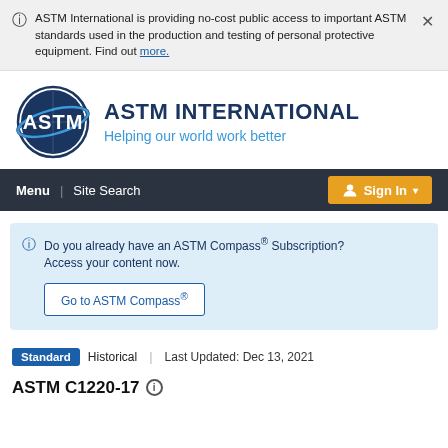ASTM International is providing no-cost public access to important ASTM standards used in the production and testing of personal protective equipment. Find out more.
[Figure (logo): ASTM International circular logo with letters ASTM inside a globe-like design with orbital ring]
ASTM INTERNATIONAL
Helping our world work better
Menu | Site Search   Sign In
Do you already have an ASTM Compass® Subscription? Access your content now.
Go to ASTM Compass®
Standard   Historical   |   Last Updated: Dec 13, 2021
ASTM C1220-17